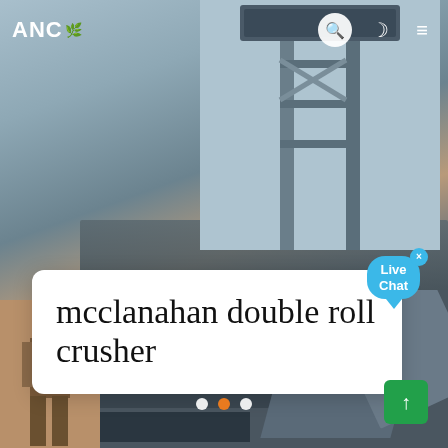[Figure (photo): Website screenshot showing an industrial double roll crusher machine with steel frame structure, workers in foreground, and sky background. ANC logo website with navigation bar at top.]
ANC
mcclanahan double roll crusher
Live Chat